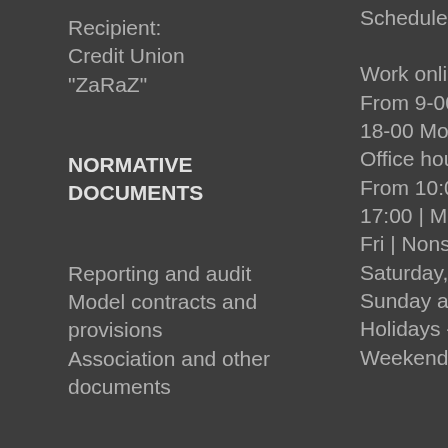Recipient: Credit Union "ZaRaZ"
NORMATIVE DOCUMENTS
Reporting and audit
Model contracts and provisions
Association and other documents
Schedule
Work online: From 9-00 to 18-00 Mon-Fri
Office hours: From 10:00 to 17:00 | Mon-Fri | Nonstop Saturday, Sunday and Holidays - Weekend